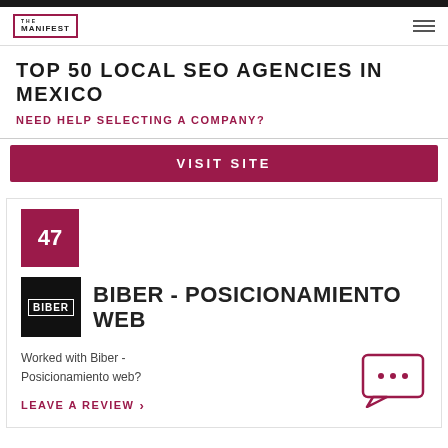THE MANIFEST
TOP 50 LOCAL SEO AGENCIES IN MEXICO
NEED HELP SELECTING A COMPANY?
VISIT SITE
47
BIBER - POSICIONAMIENTO WEB
Worked with Biber - Posicionamiento web?
LEAVE A REVIEW >